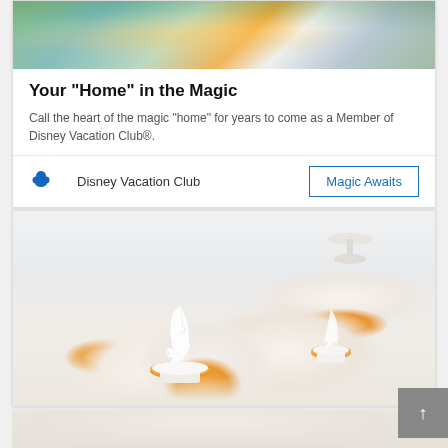[Figure (photo): Outdoor photo of a resort building with people and colorful clothing visible, green landscaping in the foreground]
Your "Home" in the Magic
Call the heart of the magic "home" for years to come as a Member of Disney Vacation Club®.
[Figure (logo): Disney Vacation Club logo with Mickey mouse icon]
Disney Vacation Club
Magic Awaits
[Figure (photo): Close-up photo of cupcakes with white whipped cream frosting on small orange/golden cookie bases, arranged on white pedestals against a light grey background]